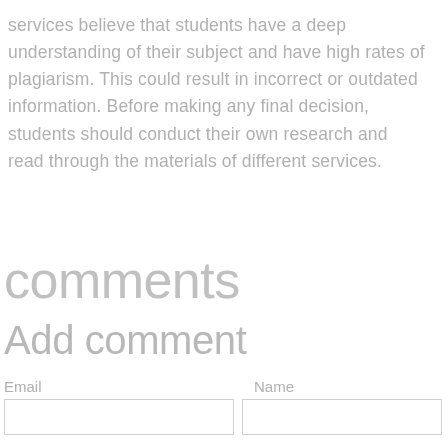services believe that students have a deep understanding of their subject and have high rates of plagiarism. This could result in incorrect or outdated information. Before making any final decision, students should conduct their own research and read through the materials of different services.
comments
Add comment
Email    Name